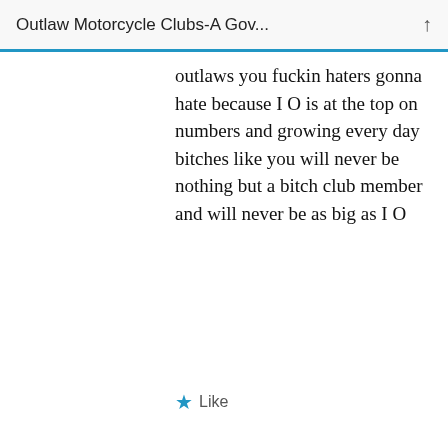Outlaw Motorcycle Clubs-A Gov...
outlaws you fuckin haters gonna hate because I O is at the top on numbers and growing every day bitches like you will never be nothing but a bitch club member and will never be as big as I O
★ Like
Dave hunt   FEBRUARY 11, 2016 AT 10:57 PM
[Figure (screenshot): Fandom on Tumblr advertisement banner with colorful gradient background]
Advertisements